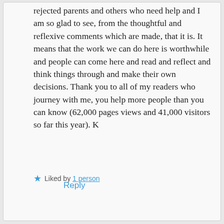rejected parents and others who need help and I am so glad to see, from the thoughtful and reflexive comments which are made, that it is. It means that the work we can do here is worthwhile and people can come here and read and reflect and think things through and make their own decisions. Thank you to all of my readers who journey with me, you help more people than you can know (62,000 pages views and 41,000 visitors so far this year). K
Liked by 1 person
Reply